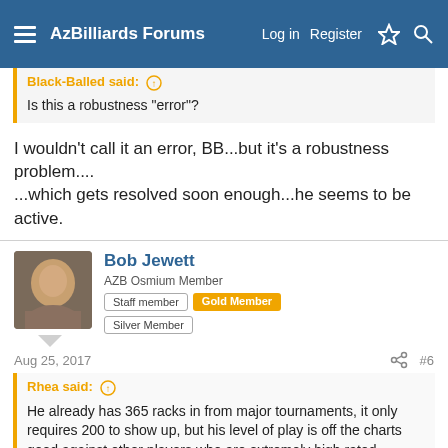AzBilliards Forums | Log in | Register
Black-Balled said:
Is this a robustness "error"?
I wouldn't call it an error, BB...but it's a robustness problem....
...which gets resolved soon enough...he seems to be active.
Bob Jewett
AZB Osmium Member  Staff member  Gold Member  Silver Member
Aug 25, 2017  #6
Rhea said:
He already has 365 racks in from major tournaments, it only requires 200 to show up, but his level of play is off the charts good against other players who are extremely high rated.
It would be nice to know how accurate the ratings are depending